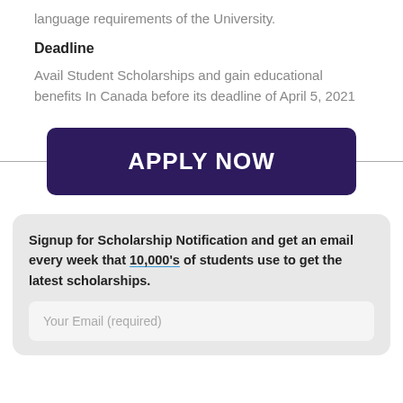language requirements of the University.
Deadline
Avail Student Scholarships and gain educational benefits In Canada before its deadline of April 5, 2021
[Figure (other): APPLY NOW button — dark purple rounded rectangle with white bold uppercase text, centered on a horizontal divider line]
Signup for Scholarship Notification and get an email every week that 10,000's of students use to get the latest scholarships.
Your Email (required)